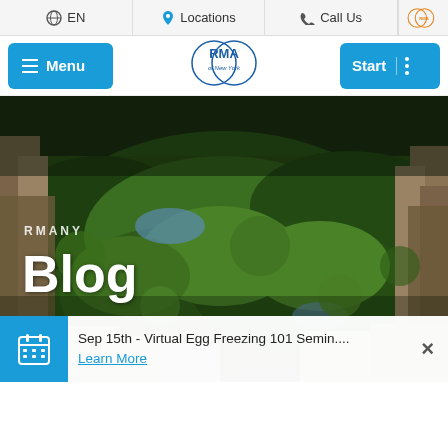EN  Locations  Call Us  RMA logo
Menu  RMA of New York  Start
[Figure (photo): Aerial view of Central Park in New York City, surrounded by dense urban buildings, with lush green trees and a lake visible. Text overlay reads RMANY and Blog.]
Sep 15th - Virtual Egg Freezing 101 Semin.... Learn More